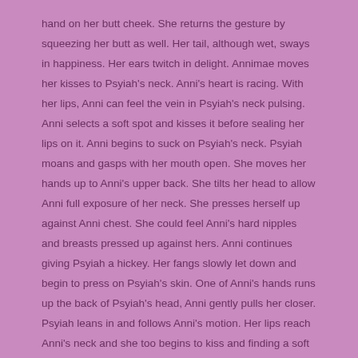hand on her butt cheek. She returns the gesture by squeezing her butt as well. Her tail, although wet, sways in happiness. Her ears twitch in delight. Annimae moves her kisses to Psyiah's neck. Anni's heart is racing. With her lips, Anni can feel the vein in Psyiah's neck pulsing. Anni selects a soft spot and kisses it before sealing her lips on it. Anni begins to suck on Psyiah's neck. Psyiah moans and gasps with her mouth open. She moves her hands up to Anni's upper back. She tilts her head to allow Anni full exposure of her neck. She presses herself up against Anni chest. She could feel Anni's hard nipples and breasts pressed up against hers. Anni continues giving Psyiah a hickey. Her fangs slowly let down and begin to press on Psyiah's skin. One of Anni's hands runs up the back of Psyiah's head, Anni gently pulls her closer. Psyiah leans in and follows Anni's motion. Her lips reach Anni's neck and she too begins to kiss and finding a soft spot to give her a hickey in return. She continues to moan. Anni bites down gently, letting her fangs pierce Psyiah's skin. Instantly Anni can taste blood. She swallows. Gently and slowly Anni drinks Psyiah's life essence. Her eyes remain closed as she feels her soul becoming even closer to Psyiah's. Psyiah's blood is warm as Anni swallows it, leaving Anni feeling satisfied. Psyiah lets